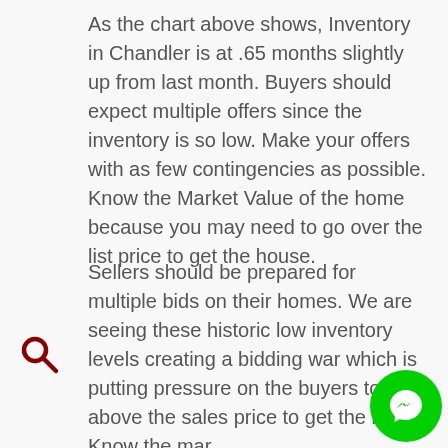As the chart above shows, Inventory in Chandler is at .65 months slightly up from last month. Buyers should expect multiple offers since the inventory is so low. Make your offers with as few contingencies as possible. Know the Market Value of the home because you may need to go over the list price to get the house.
Sellers should be prepared for multiple bids on their homes. We are seeing these historic low inventory levels creating a bidding war which is putting pressure on the buyers to bid above the sales price to get the home. Know the market value of your home, so you don't accept an offer that causes an appraisal issue.